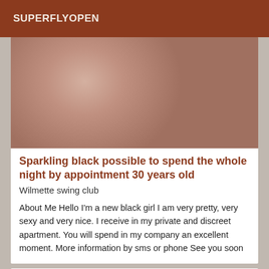SUPERFLYOPEN
[Figure (photo): Close-up photo, skin tones with fabric visible in background]
Sparkling black possible to spend the whole night by appointment 30 years old
Wilmette swing club
About Me Hello I'm a new black girl I am very pretty, very sexy and very nice. I receive in my private and discreet apartment. You will spend in my company an excellent moment. More information by sms or phone See you soon